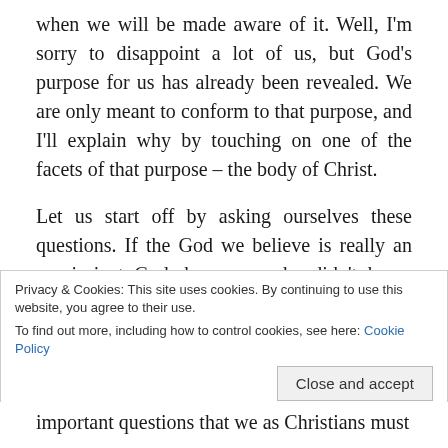when we will be made aware of it. Well, I'm sorry to disappoint a lot of us, but God's purpose for us has already been revealed. We are only meant to conform to that purpose, and I'll explain why by touching on one of the facets of that purpose – the body of Christ.
Let us start off by asking ourselves these questions. If the God we believe is really an omniscient God, how come he didn't know that Adam could fall to the temptation of the devil? Or did he? If he did, then if Adam had passed the test, what would God have done? Would there have been the need for
Privacy & Cookies: This site uses cookies. By continuing to use this website, you agree to their use. To find out more, including how to control cookies, see here: Cookie Policy
Close and accept
important questions that we as Christians must